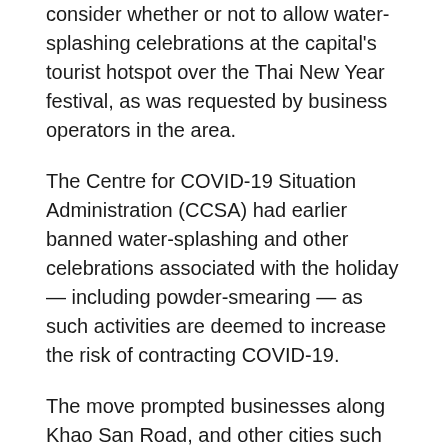consider whether or not to allow water-splashing celebrations at the capital's tourist hotspot over the Thai New Year festival, as was requested by business operators in the area.
The Centre for COVID-19 Situation Administration (CCSA) had earlier banned water-splashing and other celebrations associated with the holiday — including powder-smearing — as such activities are deemed to increase the risk of contracting COVID-19.
The move prompted businesses along Khao San Road, and other cities such as Chiang Mai, Phuket and Pattaya to jointly petition the government to reconsider.
Sa-nga Ruangwatthanakul, president of the Association of Business Operators on Khao San Road, said revellers are expected to spend between 50-80 million baht over the four-day holiday if authorities lift the ban on water-splashing.